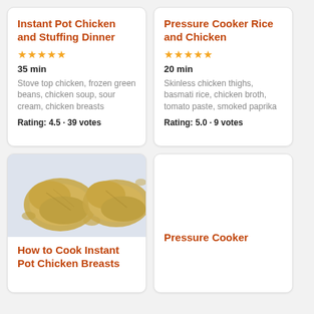Instant Pot Chicken and Stuffing Dinner
★★★★☆ 35 min Stove top chicken, frozen green beans, chicken soup, sour cream, chicken breasts Rating: 4.5 · 39 votes
Pressure Cooker Rice and Chicken
★★★★★ 20 min Skinless chicken thighs, basmati rice, chicken broth, tomato paste, smoked paprika Rating: 5.0 · 9 votes
[Figure (photo): Photo of cooked instant pot chicken breasts on a light surface]
How to Cook Instant Pot Chicken Breasts
Pressure Cooker